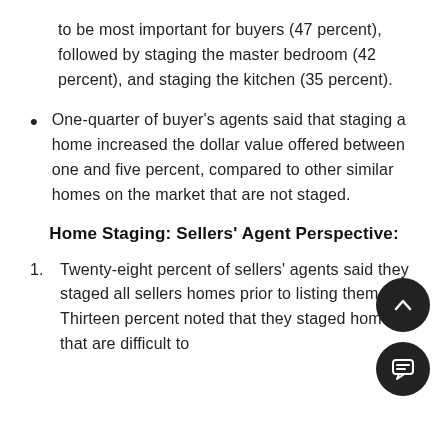to be most important for buyers (47 percent), followed by staging the master bedroom (42 percent), and staging the kitchen (35 percent).
One-quarter of buyer's agents said that staging a home increased the dollar value offered between one and five percent, compared to other similar homes on the market that are not staged.
Home Staging: Sellers' Agent Perspective:
Twenty-eight percent of sellers' agents said they staged all sellers homes prior to listing them for. Thirteen percent noted that they staged homes that are difficult to